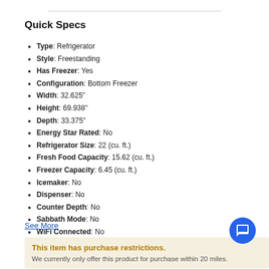Quick Specs
Type: Refrigerator
Style: Freestanding
Has Freezer: Yes
Configuration: Bottom Freezer
Width: 32.625"
Height: 69.938"
Depth: 33.375"
Energy Star Rated: No
Refrigerator Size: 22 (cu. ft.)
Fresh Food Capacity: 15.62 (cu. ft.)
Freezer Capacity: 6.45 (cu. ft.)
Icemaker: No
Dispenser: No
Counter Depth: No
Sabbath Mode: No
WiFi Connected: No
See More
This item has purchase restrictions. We currently only offer this product for purchase within 20 miles.